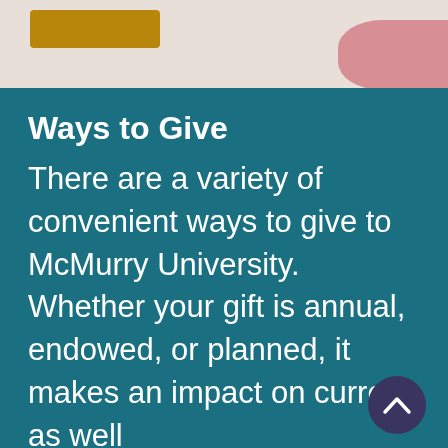[Figure (photo): Top strip with a gold/mustard colored button on the left and a pink/rose colored element on the right, over a light beige background]
Ways to Give
There are a variety of convenient ways to give to McMurry University. Whether your gift is annual, endowed, or planned, it makes an impact on current as well